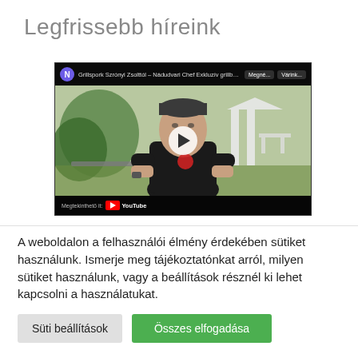Legfrissebb híreink
[Figure (screenshot): YouTube embedded video thumbnail showing a chef in a black shirt standing outdoors in a garden. The video title reads 'Grillspork Szrónyi Zsolttól – Nádudvari Chef Exkluzív grillbőiönések'. Bottom bar shows 'Megtekinthető it: YouTube'.]
A weboldalon a felhasználói élmény érdekében sütiket használunk. Ismerje meg tájékoztatónkat arról, milyen sütiket használunk, vagy a beállítások résznél ki lehet kapcsolni a használatukat.
Süti beállítások
Összes elfogadása